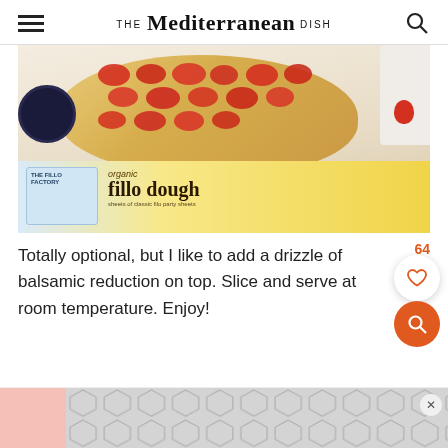THE Mediterranean DISH
[Figure (photo): Overhead photo of a strawberry fillo dough galette/tart with sliced strawberries on top, a small bowl of balsamic reduction on the left, and a The Fillo Factory organic fillo dough box in the foreground.]
Totally optional, but I like to add a drizzle of balsamic reduction on top. Slice and serve at room temperature. Enjoy!
[Figure (other): Advertisement banner at bottom of page with pink section on left and gray hexagonal pattern.]